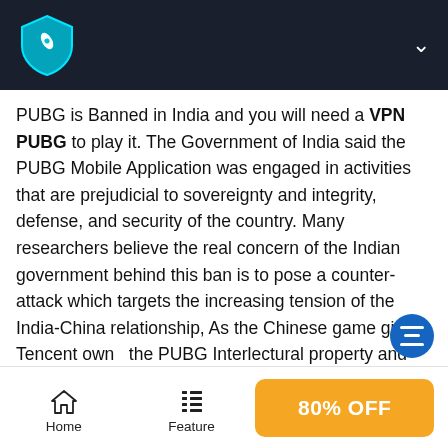VPN app header with logo and chevron
PUBG is Banned in India and you will need a VPN PUBG to play it. The Government of India said the PUBG Mobile Application was engaged in activities that are prejudicial to sovereignty and integrity, defense, and security of the country. Many researchers believe the real concern of the Indian government behind this ban is to pose a counter-attack which targets the increasing tension of the India-China relationship, As the Chinese game giant Tencent owned the PUBG Interlectural property and other 100 APP from China was banned in India in the same time. Also, according to the report from Business Today, other countries where the game is banned include China, Korea, Jordan, Israel, and Iraq. Thus, to play PUBG in those countries, you might like to have a free VPN which able to bypass the country
Home | Feature | 80% OFF